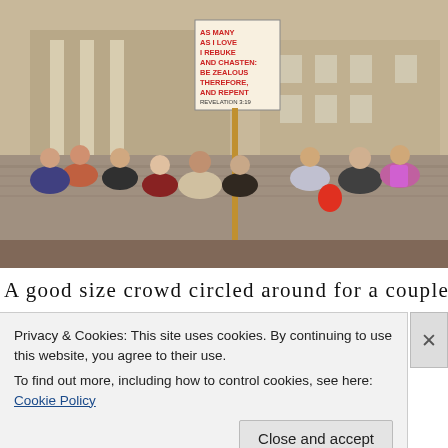[Figure (photo): Outdoor crowd scene on a university campus. A person holds a large sign reading 'AS MANY AS I LOVE I REBUKE AND CHASTEN: BE ZEALOUS THEREFORE, AND REPENT. REVELATION 3:19'. A group of students surrounds the speaker. Brick building with columns visible in background.]
A good size crowd circled around for a couple hours as I
Privacy & Cookies: This site uses cookies. By continuing to use this website, you agree to their use.
To find out more, including how to control cookies, see here: Cookie Policy
Close and accept